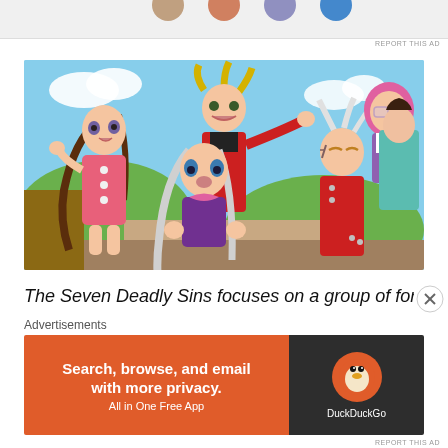[Figure (illustration): Top partial ad banner with circular avatar icons partially visible at top of page]
REPORT THIS AD
[Figure (illustration): Anime illustration from The Seven Deadly Sins showing multiple characters including a girl in pink dress with brown hair, a blonde male character in red coat, a girl with white hair in purple outfit, a spiky white-haired male in red, a pink-haired girl with glasses, and a dark-haired girl in teal dress, set against a sky background]
The Seven Deadly Sins focuses on a group of former
Advertisements
[Figure (screenshot): DuckDuckGo advertisement banner. Left orange section reads 'Search, browse, and email with more privacy. All in One Free App'. Right dark section shows DuckDuckGo duck logo and brand name.]